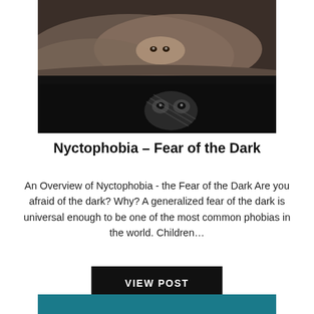[Figure (photo): Dark, moody photo of a person hiding under bedcovers peering out in fear, with a reflection or second figure visible below]
Nyctophobia – Fear of the Dark
An Overview of Nyctophobia - the Fear of the Dark Are you afraid of the dark? Why? A generalized fear of the dark is universal enough to be one of the most common phobias in the world. Children…
VIEW POST
[Figure (other): Teal/dark cyan colored bar at bottom of page]